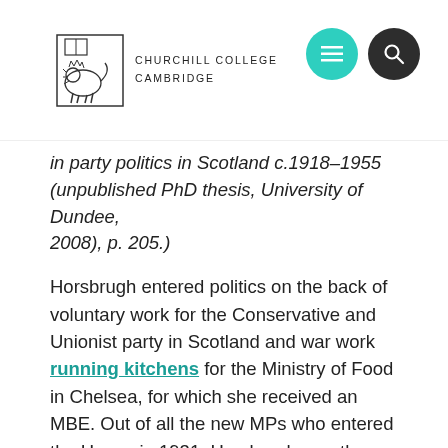CHURCHILL COLLEGE CAMBRIDGE
in party politics in Scotland c.1918–1955 (unpublished PhD thesis, University of Dundee, 2008), p. 205.)
Horsbrugh entered politics on the back of voluntary work for the Conservative and Unionist party in Scotland and war work running kitchens for the Ministry of Food in Chelsea, for which she received an MBE. Out of all the new MPs who entered the House in 1931, Horsbrugh was the most noteworthy – she was efficient in her conduct of her business and was an eloquent public speaker.
Fast forward to the Second World War and Horsbrugh occupied a crucial role as